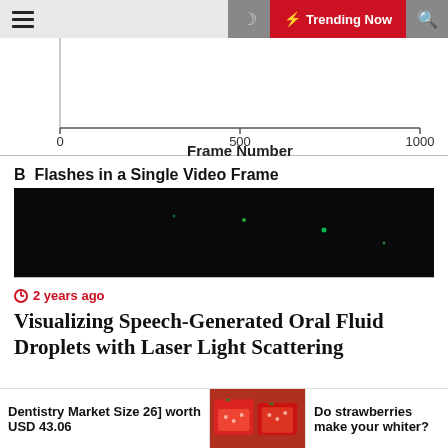☰  🌙  ⚡ Trending Now  🔍
[Figure (continuous-plot): Partial view of a chart with x-axis labeled 'Frame Number' showing tick marks at 0, 500, and 1000. This is the bottom portion of a chart (upper content clipped).]
B  Flashes in a Single Video Frame
[Figure (photo): Dark/black video frame image showing faint colored light flashes (green dots) against a nearly black background, representing oral fluid droplets illuminated by laser light scattering.]
2 years ago
Visualizing Speech-Generated Oral Fluid Droplets with Laser Light Scattering
[Figure (photo): Gray placeholder image area]
Dentistry Market Size 26] worth USD 43.06
[Figure (photo): Photo of strawberries in baskets/crates]
Do strawberries make your whiter?